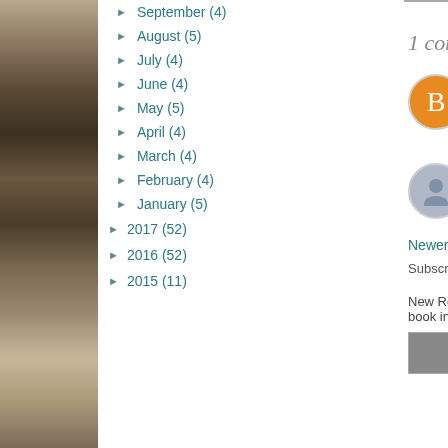[Figure (photo): Stack of books photo strip on the left side]
► September (4)
► August (5)
► July (4)
► June (4)
► May (5)
► April (4)
► March (4)
► February (4)
► January (5)
► 2017 (52)
► 2016 (52)
► 2015 (11)
1 comment:
Melissa He
I am smilin Merry Chris
Reply
Enter C
Newer Post
Subscribe to: Post C
New Release  C book in three days. A